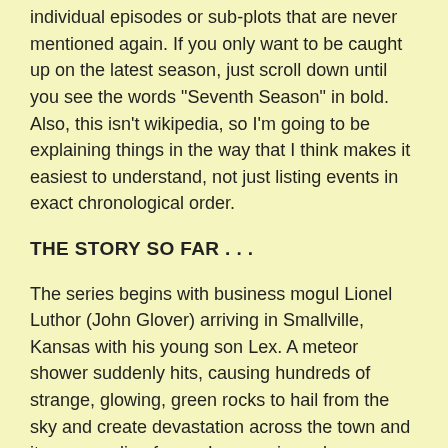individual episodes or sub-plots that are never mentioned again. If you only want to be caught up on the latest season, just scroll down until you see the words "Seventh Season" in bold. Also, this isn't wikipedia, so I'm going to be explaining things in the way that I think makes it easiest to understand, not just listing events in exact chronological order.
THE STORY SO FAR . . .
The series begins with business mogul Lionel Luthor (John Glover) arriving in Smallville, Kansas with his young son Lex. A meteor shower suddenly hits, causing hundreds of strange, glowing, green rocks to hail from the sky and create devastation across the town and its surrounding farms. Lex receives close contact with one of the meteor rocks and loses his hair as a result. Young Lana Lang loses her parents in the chaos. Meanwhile, elsewhere in Smallville, Jonathan Kent (John Schneider) and his wife Martha (Annette O'Toole, who